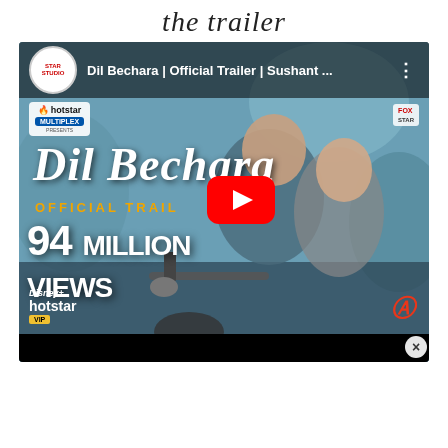the trailer
[Figure (screenshot): YouTube video thumbnail/player showing the official trailer for 'Dil Bechara' featuring Sushant Singh Rajput. The thumbnail shows two people on a motorcycle, with 'Dil Bechara' in large italic script, 'OFFICIAL TRAIL...' in gold letters, '94 MILLION VIEWS' in white bold text, a YouTube play button in the center, Hotstar Multiplex logo top-left, Fox Star logo top-right, Disney+ Hotstar VIP logo bottom-left. Title bar reads: 'Dil Bechara | Official Trailer | Sushant ...']